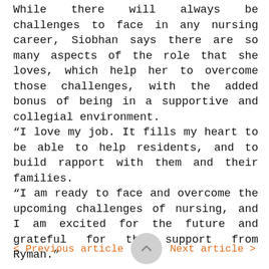While there will always be challenges to face in any nursing career, Siobhan says there are so many aspects of the role that she loves, which help her to overcome those challenges, with the added bonus of being in a supportive and collegial environment. “I love my job. It fills my heart to be able to help residents, and to build rapport with them and their families. “I am ready to face and overcome the upcoming challenges of nursing, and I am excited for the future and grateful for the support from Ryman.”
< Previous article   Next article >